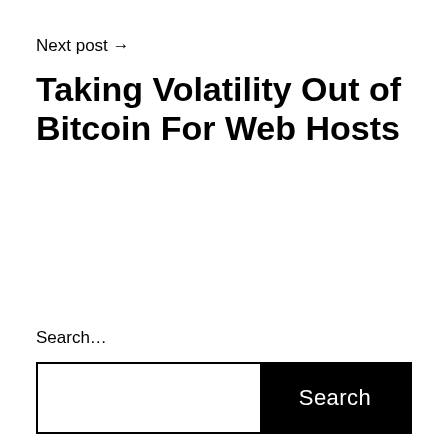Next post →
Taking Volatility Out of Bitcoin For Web Hosts
Search…
Search